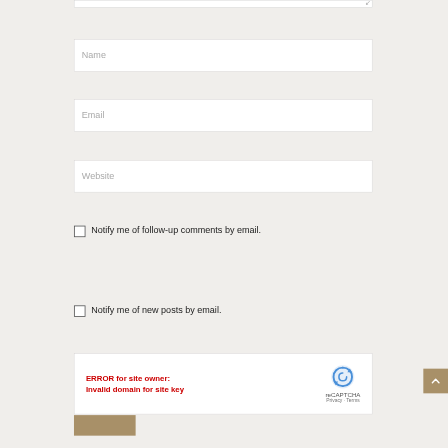[Figure (screenshot): Top edge of a textarea input field with resize handle icon visible at top right]
Name
Email
Website
Notify me of follow-up comments by email.
Notify me of new posts by email.
[Figure (screenshot): reCAPTCHA widget showing ERROR for site owner: Invalid domain for site key, with reCAPTCHA logo, Privacy and Terms links]
[Figure (screenshot): Scroll-to-top button (tan/gold colored square with up arrow chevron) at right edge]
[Figure (screenshot): Partial tan/gold button at bottom left]